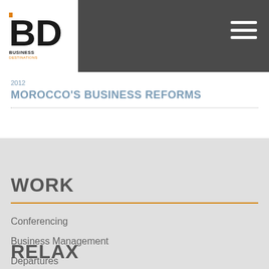[Figure (logo): BD Business Destinations logo - black BD letters with orange accents]
2012
MOROCCO'S BUSINESS REFORMS
WORK
Conferencing
Business Management
Departures
Opinion
RELAX